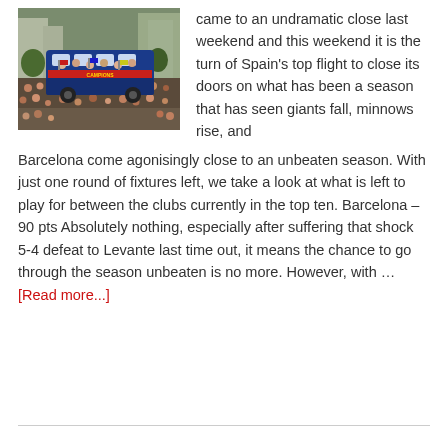[Figure (photo): Aerial view of a Barcelona football team celebration parade on an open-top bus, crowd surrounding the bus in the streets, with FC Barcelona Campions banner visible.]
came to an undramatic close last weekend and this weekend it is the turn of Spain's top flight to close its doors on what has been a season that has seen giants fall, minnows rise, and Barcelona come agonisingly close to an unbeaten season. With just one round of fixtures left, we take a look at what is left to play for between the clubs currently in the top ten. Barcelona – 90 pts Absolutely nothing, especially after suffering that shock 5-4 defeat to Levante last time out, it means the chance to go through the season unbeaten is no more. However, with … [Read more...]